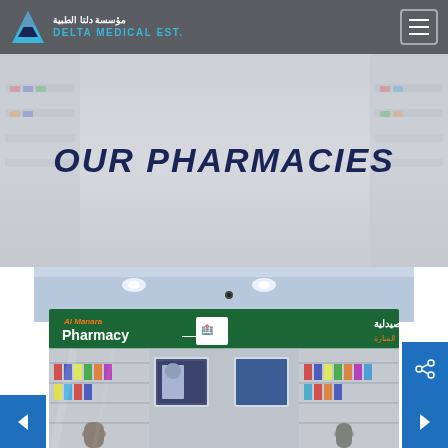[Figure (logo): Delta Medical Est. logo with blue triangle icon and Arabic text]
OUR PHARMACIES
[Figure (photo): Photo of Al Manara Pharmacy storefront inside a mall, showing green signage with Arabic and English text, glass front with product shelves inside]